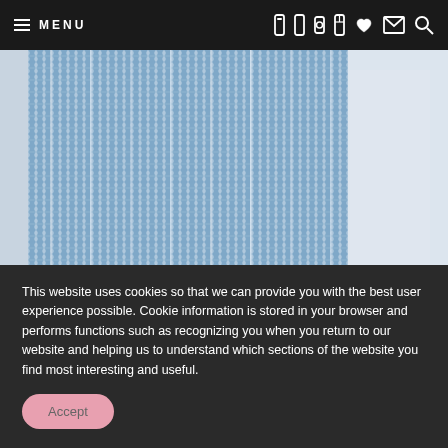MENU
[Figure (photo): Close-up photo of blue ribbed knit fabric with silver/metallic thread detail, on a light background]
Load More...
Follow on Instagram
This website uses cookies so that we can provide you with the best user experience possible. Cookie information is stored in your browser and performs functions such as recognizing you when you return to our website and helping us to understand which sections of the website you find most interesting and useful.
Accept